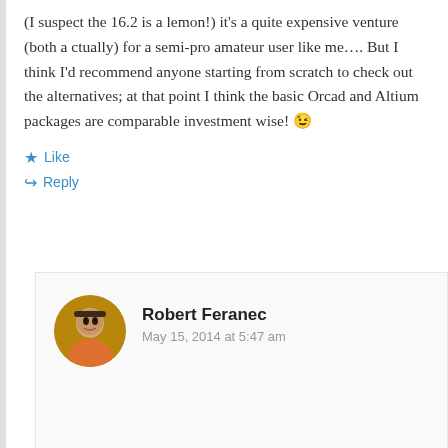(I suspect the 16.2 is a lemon!) it's a quite expensive venture (both a ctually) for a semi-pro amateur user like me…. But I think I'd recommend anyone starting from scratch to check out the alternatives; at that point I think the basic Orcad and Altium packages are comparable investment wise! 😉
★ Like
↳ Reply
Robert Feranec
May 15, 2014 at 5:47 am